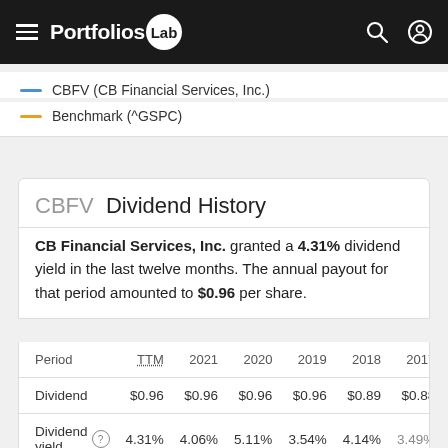Portfolios Lab
CBFV (CB Financial Services, Inc.)
Benchmark (^GSPC)
CBFV Dividend History
CB Financial Services, Inc. granted a 4.31% dividend yield in the last twelve months. The annual payout for that period amounted to $0.96 per share.
| Period | TTM | 2021 | 2020 | 2019 | 2018 | 2017 |
| --- | --- | --- | --- | --- | --- | --- |
| Dividend | $0.96 | $0.96 | $0.96 | $0.96 | $0.89 | $0.88 |
| Dividend yield | 4.31% | 4.06% | 5.11% | 3.54% | 4.14% | 3.49% |